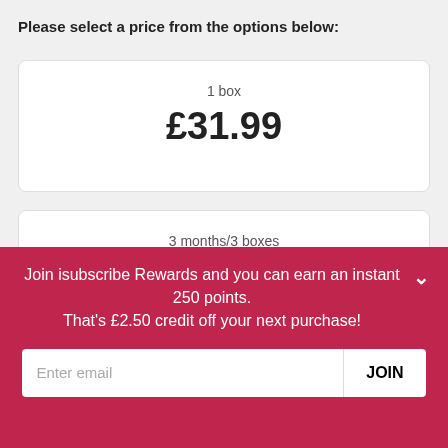Please select a price from the options below:
| 1 box | £31.99 |  |
| 3 months/3 boxes | £92.97 | SAVE 3% |
| 6 months/6 boxes |  |  |
Join isubscribe Rewards and you can earn an instant 250 points.
That's £2.50 credit off your next purchase!
Enter email
JOIN